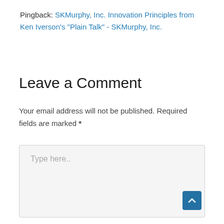Pingback: SKMurphy, Inc. Innovation Principles from Ken Iverson's "Plain Talk" - SKMurphy, Inc.
Leave a Comment
Your email address will not be published. Required fields are marked *
Type here..